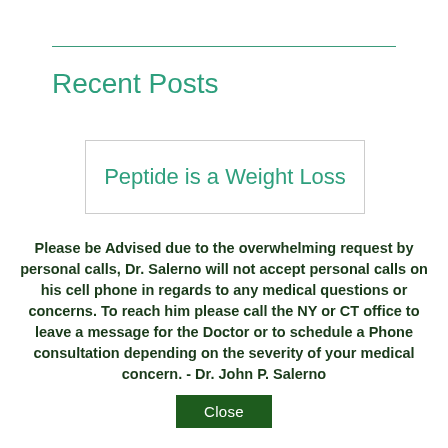Recent Posts
Peptide is a Weight Loss
Please be Advised due to the overwhelming request by personal calls, Dr. Salerno will not accept personal calls on his cell phone in regards to any medical questions or concerns. To reach him please call the NY or CT office to leave a message for the Doctor or to schedule a Phone consultation depending on the severity of your medical concern. - Dr. John P. Salerno
Close